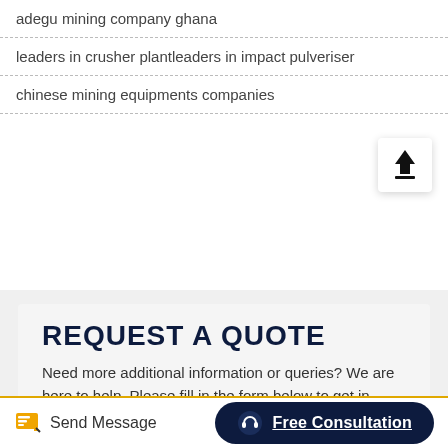adegu mining company ghana
leaders in crusher plantleaders in impact pulveriser
chinese mining equipments companies
REQUEST A QUOTE
Need more additional information or queries? We are here to help. Please fill in the form below to get in touch
Product  Name
Send Message
Free Consultation